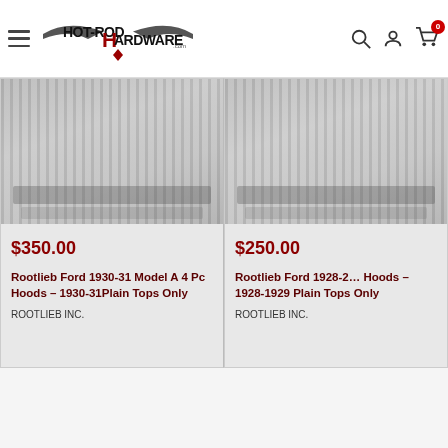Hot Rod Hardware - navigation bar with logo, search, account, and cart icons
[Figure (photo): Product image of Rootlieb Ford 1930-31 Model A 4 Pc Hoods - radiator/hood part in gray]
$350.00
Rootlieb Ford 1930-31 Model A 4 Pc Hoods – 1930-31Plain Tops Only
ROOTLIEB INC.
[Figure (photo): Product image of Rootlieb Ford 1928-29 Model A 4 Pc Hoods - radiator/hood part in gray, partially clipped]
$250.00
Rootlieb Ford 1928-29 Hoods – 1928-1929 Plain Tops Only
ROOTLIEB INC.